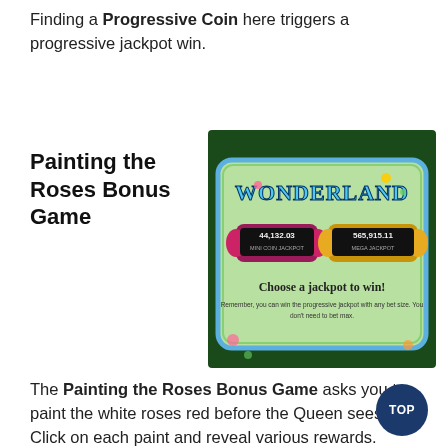Finding a Progressive Coin here triggers a progressive jackpot win.
Painting the Roses Bonus Game
[Figure (screenshot): Wonderland slot game screen showing 'Choose a jackpot to win!' with two jackpot amounts: 44,132.03 and 565,915.11]
The Painting the Roses Bonus Game asks you to paint the white roses red before the Queen sees. Click on each paint and reveal various rewards. Paint all of the roses red before the Queen appears and you